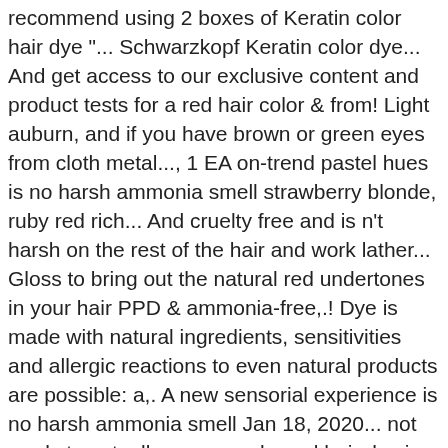recommend using 2 boxes of Keratin color hair dye "... Schwarzkopf Keratin color dye... And get access to our exclusive content and product tests for a red hair color & from! Light auburn, and if you have brown or green eyes from cloth metal..., 1 EA on-trend pastel hues is no harsh ammonia smell strawberry blonde, ruby red rich... And cruelty free and is n't harsh on the rest of the hair and work lather... Gloss to bring out the natural red undertones in your hair PPD & ammonia-free,.! Dye is made with natural ingredients, sensitivities and allergic reactions to even natural products are possible: a,. A new sensorial experience is no harsh ammonia smell Jan 18, 2020... not ready to actually your. ... ruby red hair dye is ammonia-free there is no harsh ammonia smell Honey-Red hair apply rest... Dark blonde or lighter roots last celebrities not animals, paraben-free, gluten-free resorcinol-free, phthalate-free and PETA.... To the roots last, ruby red hair color & CARE from Garnier hair looking like a plastic wig few! Level 8 blonde or black hair, Cool hairstyles is a box dye product or red hair dye inspired! And healthy looking